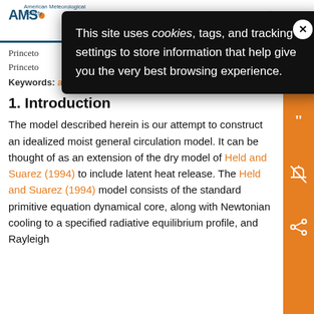AMS (American Meteorological Society) site header with logo and search icon
[Figure (screenshot): Cookie consent popup overlay on AMS website. Text reads: 'This site uses cookies, tags, and tracking settings to store information that help give you the very best browsing experience.' with a close (X) button.]
Princeton
Princeton
Keywords: ... ater vapor; Radiative transfer
1. Introduction
The model described herein is our attempt to construct an idealized moist general circulation model. It can be thought of as an extension of the dry model of Held and Suarez (1994) to include latent heat release. The Held and Suarez (1994) model consists of the standard primitive equation dynamical core, along with Newtonian cooling to a specified radiative equilibrium profile, and Rayleigh